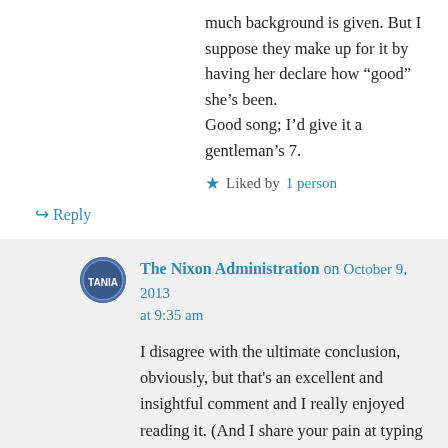much background is given. But I suppose they make up for it by having her declare how “good” she’s been.
Good song; I’d give it a gentleman’s 7.
★ Liked by 1 person
↪ Reply
The Nixon Administration on October 9, 2013 at 9:35 am
I disagree with the ultimate conclusion, obviously, but that’s an excellent and insightful comment and I really enjoyed reading it. (And I share your pain at typing up a huge essay only to see it vanish into